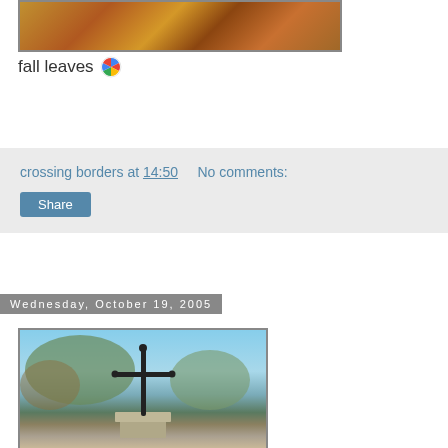[Figure (photo): Autumn fall leaves photo, top portion visible]
fall leaves [Picasa icon]
crossing borders at 14:50    No comments:
Share
Wednesday, October 19, 2005
[Figure (photo): Stone cross monument against blue sky with autumn trees in background]